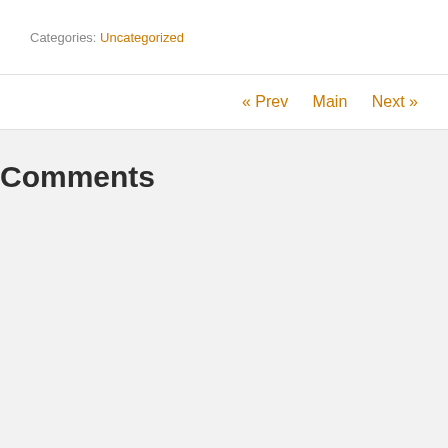Categories: Uncategorized
« Prev   Main   Next »
Comments